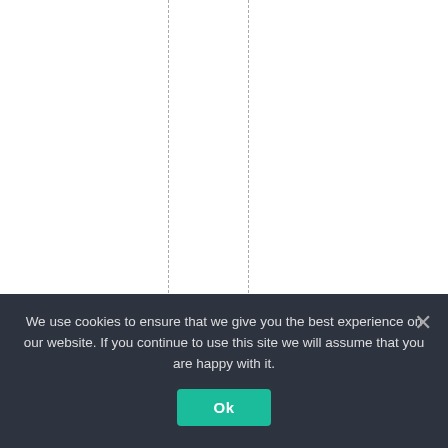fyouquestionoffici
We use cookies to ensure that we give you the best experience on our website. If you continue to use this site we will assume that you are happy with it. Ok